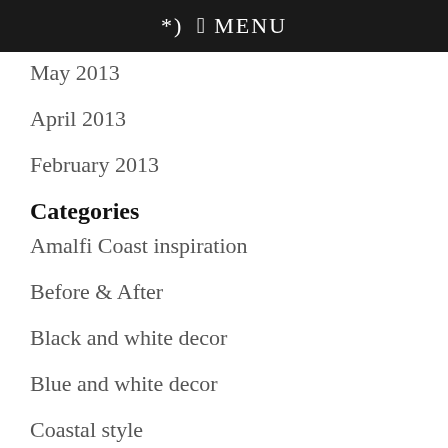ꜰ MENU
May 2013
April 2013
February 2013
Categories
Amalfi Coast inspiration
Before & After
Black and white decor
Blue and white decor
Coastal style
Exterior makeovers
Hamptons Style